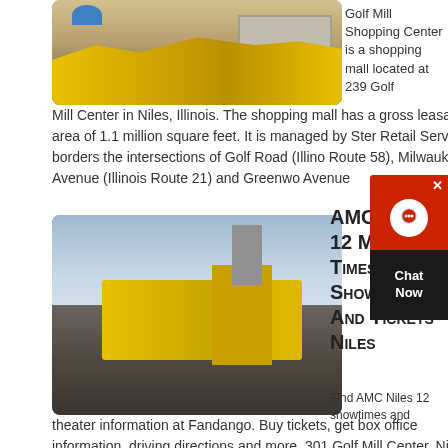[Figure (photo): Yellow mining/crushing machine with stone blocks]
Golf Mill Shopping Center is a shopping mall located at 239 Golf Mill Center in Niles, Illinois. The shopping mall has a gross leasable area of 1.1 million square feet. It is managed by Ster Retail Services. It borders the intersections of Golf Road (Illin Route 58), Milwaukee Avenue (Illinois Route 21) and Greenw Avenue
get price
[Figure (photo): Yellow mobile crusher machine at a quarry site with blue sky]
AMC Niles 12 Movie Times Showtimes And Tickets Niles
Find AMC Niles 12 showtimes and theater information at Fandango. Buy tickets, get box office information, driving directions and more. 301 Golf Mill Center, Niles See more theaters near Niles, IL Theater Highlights Pre-